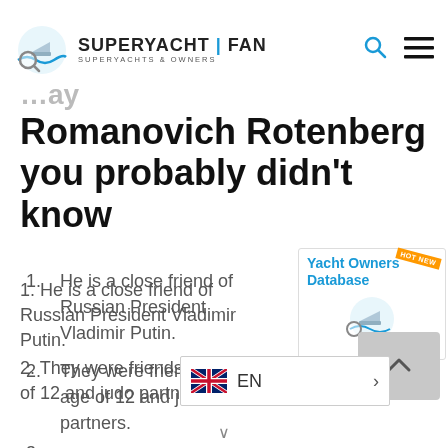[Figure (logo): SuperYachtFan logo with magnifying glass over yacht icon and text SUPERYACHT FAN / SUPERYACHTS & OWNERS]
Romanovich Rotenberg you probably didn't know
He is a close friend of Russian President Vladimir Putin.
They were friends at the age of 12 and judo partners.
His SGM Group is a Russian construction company.
[Figure (logo): Yacht Owners Database promotional badge with logo]